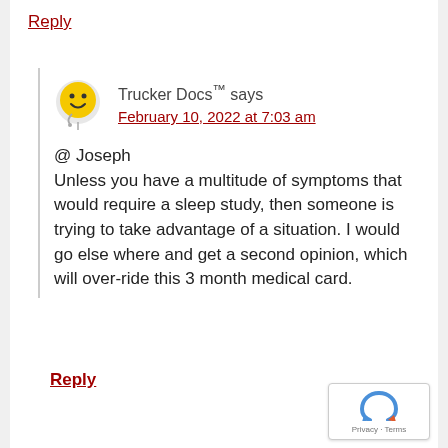Reply
Trucker Docs™ says
February 10, 2022 at 7:03 am
@ Joseph
Unless you have a multitude of symptoms that would require a sleep study, then someone is trying to take advantage of a situation. I would go else where and get a second opinion, which will over-ride this 3 month medical card.
Reply
[Figure (illustration): Smiley face avatar with doctor stethoscope, yellow face on white balloon-like background]